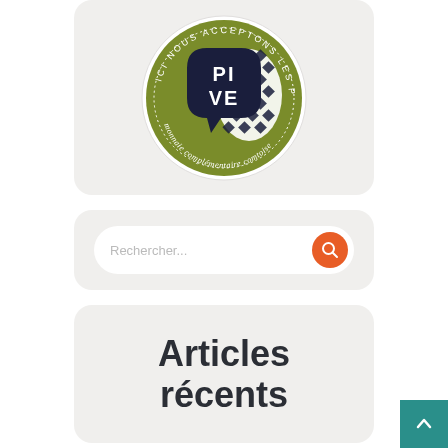[Figure (logo): PIVE logo - circular badge with olive green background, dark navy speech bubble with 'PIVE' text in white, checkered pattern shape, text around circle reads 'ICI NOUS ACCEPTONS LES PIVES' and 'monnaie complémentaire comtoise']
[Figure (other): Search bar with placeholder text 'Rechercher...' and orange circular search button with magnifying glass icon]
Articles récents